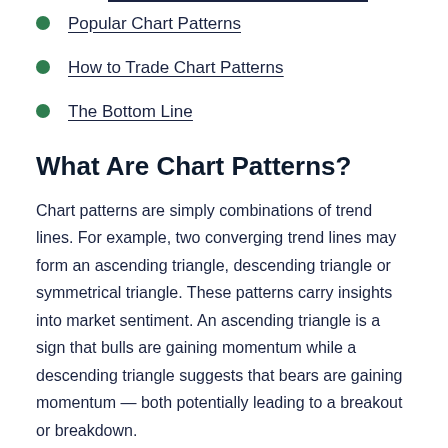Popular Chart Patterns
How to Trade Chart Patterns
The Bottom Line
What Are Chart Patterns?
Chart patterns are simply combinations of trend lines. For example, two converging trend lines may form an ascending triangle, descending triangle or symmetrical triangle. These patterns carry insights into market sentiment. An ascending triangle is a sign that bulls are gaining momentum while a descending triangle suggests that bears are gaining momentum — both potentially leading to a breakout or breakdown.